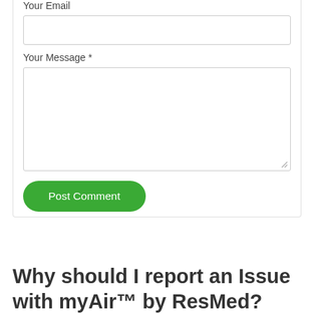Your Email *
Your Message *
Post Comment
Why should I report an Issue with myAir™ by ResMed?